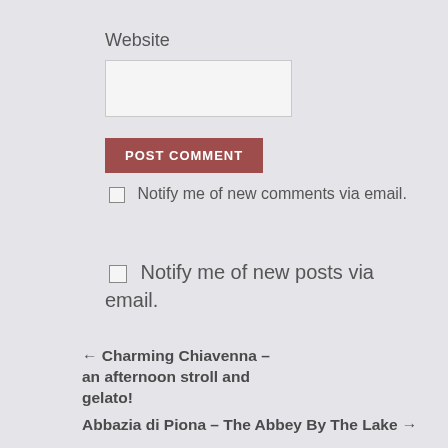Website
POST COMMENT
Notify me of new comments via email.
Notify me of new posts via email.
← Charming Chiavenna – an afternoon stroll and gelato!
Abbazia di Piona – The Abbey By The Lake →